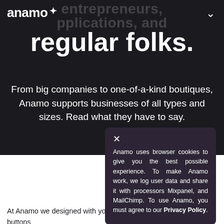anamo
regular folks.
From big companies to one-of-a-kind boutiques, Anamo supports businesses of all types and sizes. Read what they have to say.
Anamo uses browser cookies to give you the best possible experience. To make Anamo work, we log user data and share it with processors Mixpanel, and MailChimp. To use Anamo, you must agree to our Privacy Policy.
Simp... mo...
At Anamo we designed with you in mind. From the simplest buttons